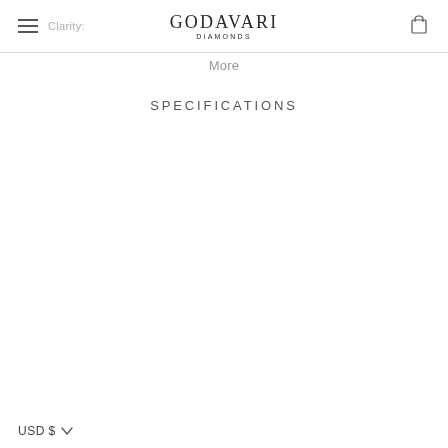Clarity: GODAVARI DIAMONDS More
SPECIFICATIONS
USD $